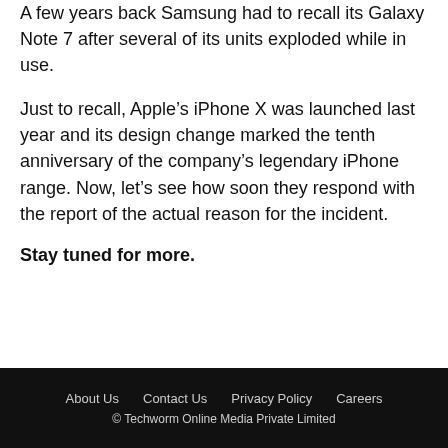A few years back Samsung had to recall its Galaxy Note 7 after several of its units exploded while in use.
Just to recall, Apple’s iPhone X was launched last year and its design change marked the tenth anniversary of the company’s legendary iPhone range. Now, let’s see how soon they respond with the report of the actual reason for the incident.
Stay tuned for more.
About Us   Contact Us   Privacy Policy   Careers
© Techworm Online Media Private Limited